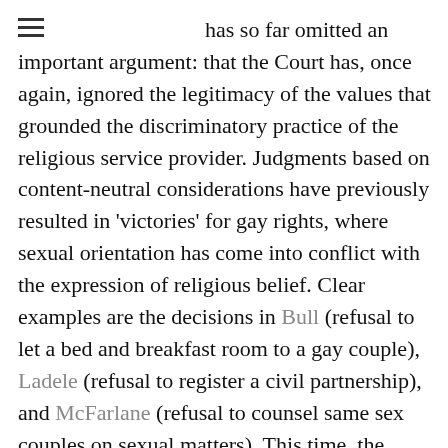has so far omitted an important argument: that the Court has, once again, ignored the legitimacy of the values that grounded the discriminatory practice of the religious service provider. Judgments based on content-neutral considerations have previously resulted in 'victories' for gay rights, where sexual orientation has come into conflict with the expression of religious belief. Clear examples are the decisions in Bull (refusal to let a bed and breakfast room to a gay couple), Ladele (refusal to register a civil partnership), and McFarlane (refusal to counsel same sex couples on sexual matters). This time, the content-neutral reasoning of the Supreme Court has resulted in not only a setback to gay rights but also a betrayal of the liberal values that underpin equality and anti-discrimination law.